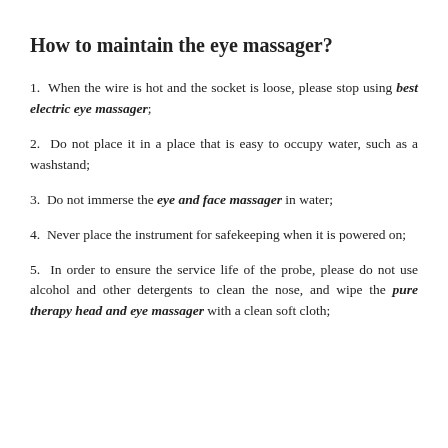How to maintain the eye massager?
1. When the wire is hot and the socket is loose, please stop using best electric eye massager;
2. Do not place it in a place that is easy to occupy water, such as a washstand;
3. Do not immerse the eye and face massager in water;
4. Never place the instrument for safekeeping when it is powered on;
5. In order to ensure the service life of the probe, please do not use alcohol and other detergents to clean the nose, and wipe the pure therapy head and eye massager with a clean soft cloth;